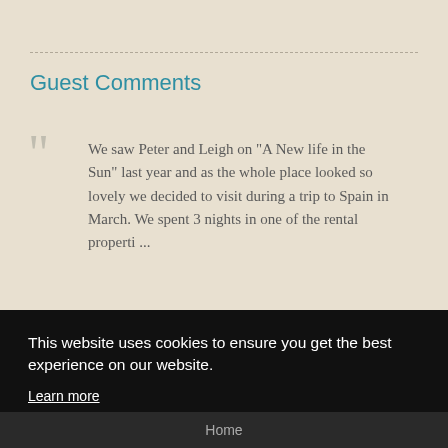Guest Comments
We saw Peter and Leigh on "A New life in the Sun" last year and as the whole place looked so lovely we decided to visit during a trip to Spain in March. We spent 3 nights in one of the rental properti ...
— Andy
This website uses cookies to ensure you get the best experience on our website.
Learn more
Decline
Allow cookies
Home